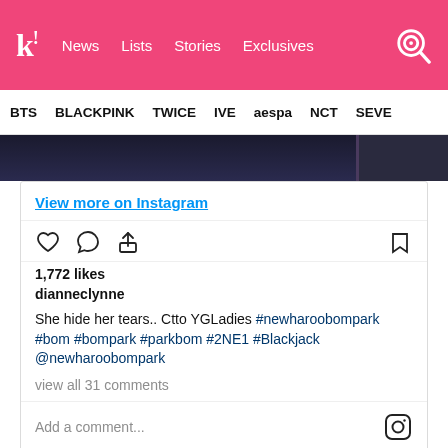k! News  Lists  Stories  Exclusives
BTS  BLACKPINK  TWICE  IVE  aespa  NCT  SEVE
[Figure (screenshot): Instagram post embed showing: View more on Instagram link, heart/comment/share icons and bookmark icon, 1,772 likes, username dianneclynne, caption 'She hide her tears.. Ctto YGLadies #newharoobompark #bom #bompark #parkbom #2NE1 #Blackjack @newharoobompark', view all 31 comments, Add a comment field with Instagram logo]
The exact contents of the sketchbook are still